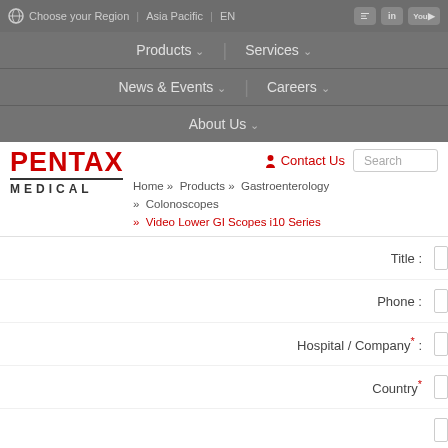Choose your Region | Asia Pacific | EN
Products | Services | News & Events | Careers | About Us
[Figure (logo): Pentax Medical logo — red bold PENTAX text with MEDICAL in dark gray below, separated by a horizontal line]
Contact Us   Search
Home » Products » Gastroenterology » Colonoscopes » Video Lower GI Scopes i10 Series
Title :
Phone :
Hospital / Company* :
Country*
Question / Comments :